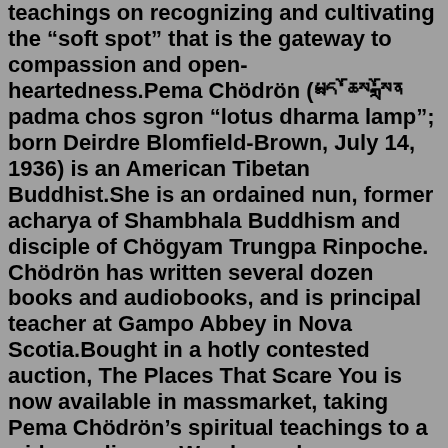teachings on recognizing and cultivating the "soft spot" that is the gateway to compassion and open-heartedness.Pema Chödrön (པདྨ་ཆོས་སྒྲོན padma chos sgron "lotus dharma lamp"; born Deirdre Blomfield-Brown, July 14, 1936) is an American Tibetan Buddhist.She is an ordained nun, former acharya of Shambhala Buddhism and disciple of Chögyam Trungpa Rinpoche. Chödrön has written several dozen books and audiobooks, and is principal teacher at Gampo Abbey in Nova Scotia.Bought in a hotly contested auction, The Places That Scare You is now available in massmarket, taking Pema Chödrön 's spiritual teachings to a wider audience. We always have a choice, Pema Chödrön teaches: we can either let One of the most inspiring spiritual teachers of our time offers simple, practical advice for living with less fear ... In The Places That Scare You, Pema Chödrön provides essential tools for dealing with the many difficulties that life throws our way, teaching us how to awaken our basic human goodness and connect deeply with others—to accept ourselves and